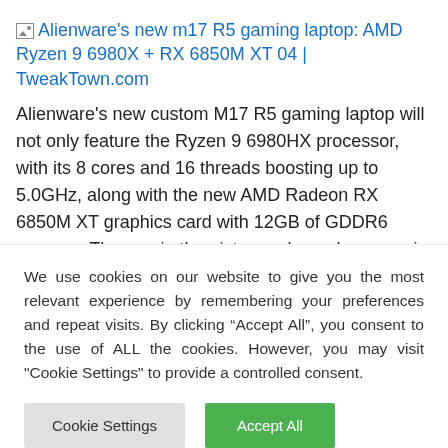[Figure (screenshot): Broken image placeholder icon followed by a hyperlink text: Alienware's new m17 R5 gaming laptop: AMD Ryzen 9 6980X + RX 6850M XT 04 | TweakTown.com]
Alienware's new custom M17 R5 gaming laptop will not only feature the Ryzen 9 6980HX processor, with its 8 cores and 16 threads boosting up to 5.0GHz, along with the new AMD Radeon RX 6850M XT graphics card with 12GB of GDDR6 memory. The one in the pictures above, however, is powered by the Radeon RX 6700M which will
We use cookies on our website to give you the most relevant experience by remembering your preferences and repeat visits. By clicking “Accept All”, you consent to the use of ALL the cookies. However, you may visit "Cookie Settings" to provide a controlled consent.
Cookie Settings | Accept All